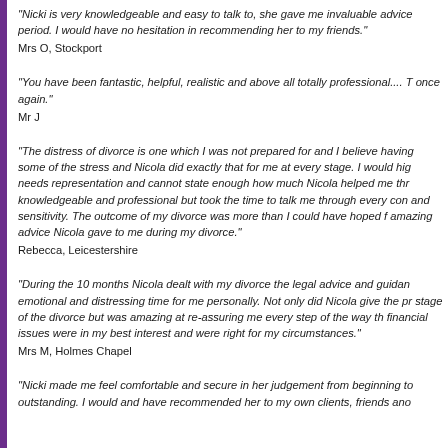"Nicki is very knowledgeable and easy to talk to, she gave me invaluable advice period. I would have no hesitation in recommending her to my friends."
Mrs O, Stockport
"You have been fantastic, helpful, realistic and above all totally professional.... T once again."
Mr J
"The distress of divorce is one which I was not prepared for and I believe having some of the stress and Nicola did exactly that for me at every stage. I would hig needs representation and cannot state enough how much Nicola helped me thr knowledgeable and professional but took the time to talk me through every con and sensitivity. The outcome of my divorce was more than I could have hoped f amazing advice Nicola gave to me during my divorce."
Rebecca, Leicestershire
"During the 10 months Nicola dealt with my divorce the legal advice and guidan emotional and distressing time for me personally. Not only did Nicola give the p stage of the divorce but was amazing at re-assuring me every step of the way t financial issues were in my best interest and were right for my circumstances."
Mrs M, Holmes Chapel
"Nicki made me feel comfortable and secure in her judgement from beginning to outstanding. I would and have recommended her to my own clients, friends ano